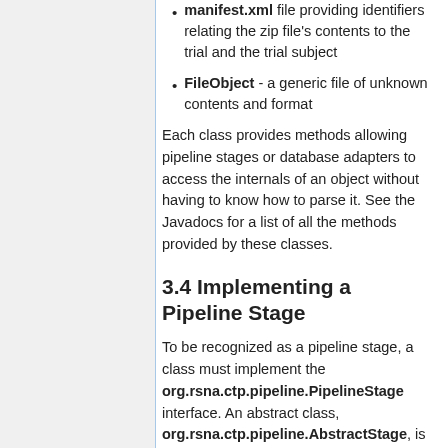manifest.xml file providing identifiers relating the zip file's contents to the trial and the trial subject
FileObject - a generic file of unknown contents and format
Each class provides methods allowing pipeline stages or database adapters to access the internals of an object without having to know how to parse it. See the Javadocs for a list of all the methods provided by these classes.
3.4 Implementing a Pipeline Stage
To be recognized as a pipeline stage, a class must implement the org.rsna.ctp.pipeline.PipelineStage interface. An abstract class, org.rsna.ctp.pipeline.AbstractStage, is provided to supply some of the basic